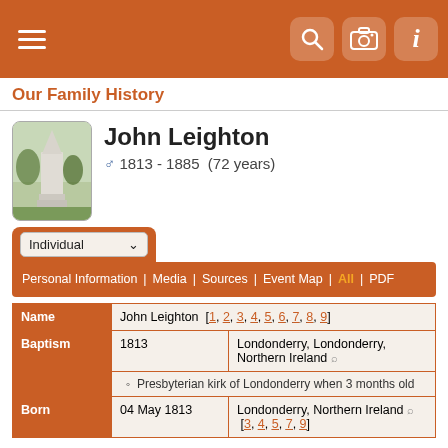Our Family History
John Leighton ♂ 1813 - 1885 (72 years)
Individual
Personal Information | Media | Sources | Event Map | All | PDF
|  |  |  |
| --- | --- | --- |
| Name | John Leighton [1, 2, 3, 4, 5, 6, 7, 8, 9] |  |
| Baptism | 1813 | Londonderry, Londonderry, Northern Ireland |
|  | Presbyterian kirk of Londonderry when 3 months old |  |
| Born | 04 May 1813 | Londonderry, Northern Ireland [3, 4, 5, 7, 9] |